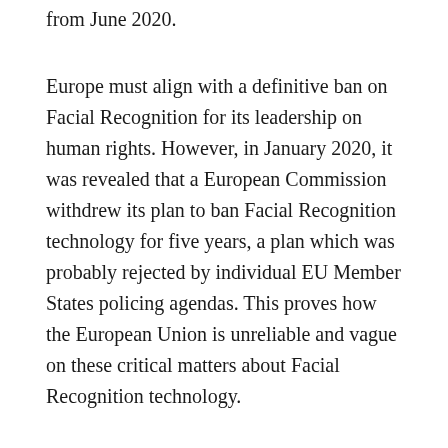from June 2020.
Europe must align with a definitive ban on Facial Recognition for its leadership on human rights. However, in January 2020, it was revealed that a European Commission withdrew its plan to ban Facial Recognition technology for five years, a plan which was probably rejected by individual EU Member States policing agendas. This proves how the European Union is unreliable and vague on these critical matters about Facial Recognition technology.
Today, Facial Recognition in Europe is deployed without transparency or public debate, and is used outside of any coordinated and coherent legal framework. Their promoters have blind faith in this